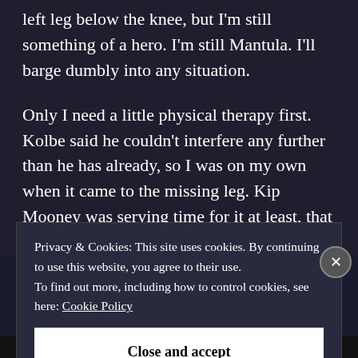left leg below the knee, but I'm still something of a hero. I'm still Mantula. I'll barge dumbly into any situation.
Only I need a little physical therapy first. Kolbe said he couldn't interfere any further than he has already, so I was on my own when it came to the missing leg. Kip Mooney was serving time for it at least, that and for burning down my crappy little
Privacy & Cookies: This site uses cookies. By continuing to use this website, you agree to their use.
To find out more, including how to control cookies, see here: Cookie Policy
Close and accept